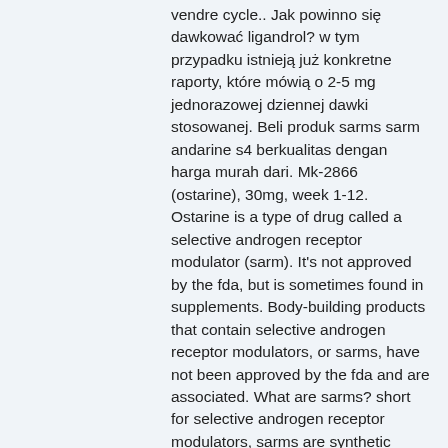vendre cycle.. Jak powinno się dawkować ligandrol? w tym przypadku istnieją już konkretne raporty, które mówią o 2-5 mg jednorazowej dziennej dawki stosowanej. Beli produk sarms sarm andarine s4 berkualitas dengan harga murah dari. Mk-2866 (ostarine), 30mg, week 1-12. Ostarine is a type of drug called a selective androgen receptor modulator (sarm). It's not approved by the fda, but is sometimes found in supplements. Body-building products that contain selective androgen receptor modulators, or sarms, have not been approved by the fda and are associated. What are sarms? short for selective androgen receptor modulators, sarms are synthetic drugs designed to have effects similar to those of testosterone. • sarm (ostarine, s4, lgd 2226). • megestrol acetate (ma). • growth hormone (gh). 2895 - 116th congress (2019-2020): sarms control act of 2019. Ostaryna wydaje sie mieć dużo